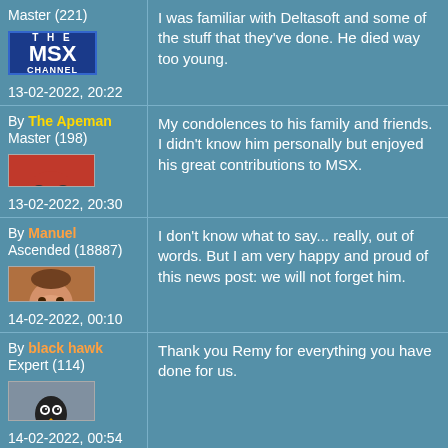Master (221)
[Figure (logo): THE MSX CHANNEL logo - blue background with white text]
13-02-2022, 20:22
I was familiar with Deltasoft and some of the stuff that they've done. He died way too young.
By The Apeman
Master (198)
[Figure (photo): Red cartoon ape avatar]
13-02-2022, 20:30
My condolences to his family and friends. I didn't know him personally but enjoyed his great contributions to MSX.
By Manuel
Ascended (18887)
[Figure (photo): Photo of a smiling man - Manuel avatar]
14-02-2022, 00:10
I don't know what to say... really, out of words. But I am very happy and proud of this news post: we will not forget him.
By black hawk
Expert (114)
[Figure (illustration): Black penguin-like bird avatar]
14-02-2022, 00:54
Thank you Remy for everything you have done for us.